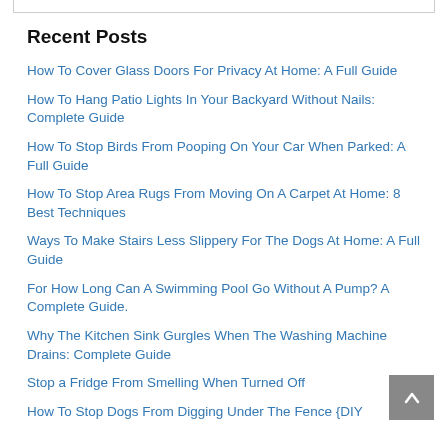Recent Posts
How To Cover Glass Doors For Privacy At Home: A Full Guide
How To Hang Patio Lights In Your Backyard Without Nails: Complete Guide
How To Stop Birds From Pooping On Your Car When Parked: A Full Guide
How To Stop Area Rugs From Moving On A Carpet At Home: 8 Best Techniques
Ways To Make Stairs Less Slippery For The Dogs At Home: A Full Guide
For How Long Can A Swimming Pool Go Without A Pump? A Complete Guide.
Why The Kitchen Sink Gurgles When The Washing Machine Drains: Complete Guide
Stop a Fridge From Smelling When Turned Off
How To Stop Dogs From Digging Under The Fence {DIY